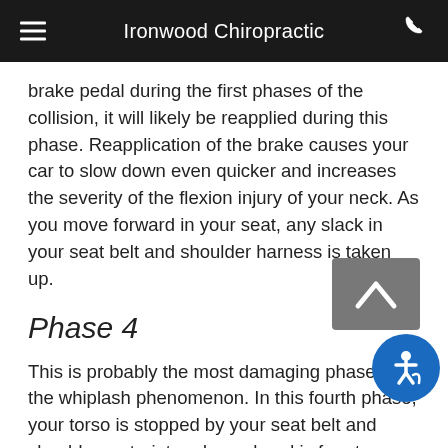Ironwood Chiropractic
brake pedal during the first phases of the collision, it will likely be reapplied during this phase. Reapplication of the brake causes your car to slow down even quicker and increases the severity of the flexion injury of your neck. As you move forward in your seat, any slack in your seat belt and shoulder harness is taken up.
Phase 4
This is probably the most damaging phase of the whiplash phenomenon. In this fourth phase, your torso is stopped by your seat belt and shoulder restraint and your head is free to move forward unimpeded. This results in a violent forward-bending motion of your neck, straining the muscles and ligaments, tearing fibers spinal discs, and forcing vertebrae out of their norm